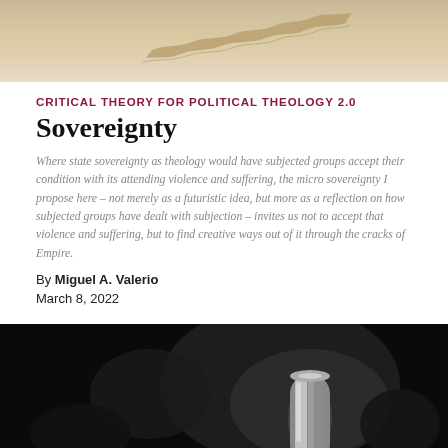[Figure (photo): Top portion of a photo showing a torn piece of paper or parchment on a light beige/tan background]
CRITICAL THEORY FOR POLITICAL THEOLOGY 2.0
Sovereignty
Where state sovereignty as theology would have subjected groups accept their condition with its attending violence and suffering, the micro sovereignty I propose here – not merely as a futuristic idea, but more as a reflection on how subjected groups have dealt with subjection – invites us not to accept that violence and suffering, but to find creative ways out of it through the cracks of Empire.
By Miguel A. Valerio
March 8, 2022
[Figure (photo): Close-up black and white photo of what appears to be a microphone or metallic cylindrical object against a dark background]